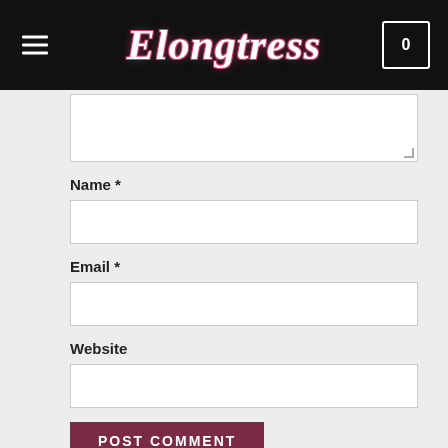Elongtress
Name *
Email *
Website
POST COMMENT